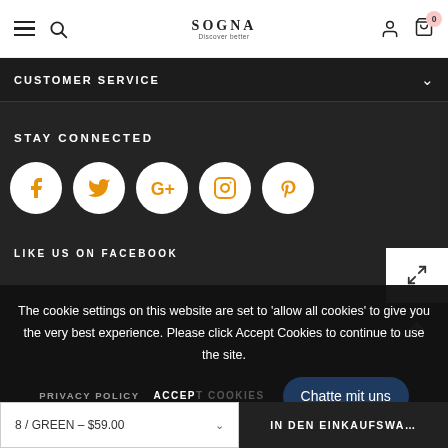SOGNA — navigation bar with hamburger, search, logo, user icon, cart (0)
CUSTOMER SERVICE
STAY CONNECTED
[Figure (other): Social media icons: Facebook, Twitter, Google+, Instagram, Pinterest — white circles with orange icons on dark background]
LIKE US ON FACEBOOK
The cookie settings on this website are set to 'allow all cookies' to give you the very best experience. Please click Accept Cookies to continue to use the site.
PRIVACY POLICY   ACCEPT COOKIES
Chatte mit uns
8 / GREEN – $59.00   IN DEN EINKAUFSWA...